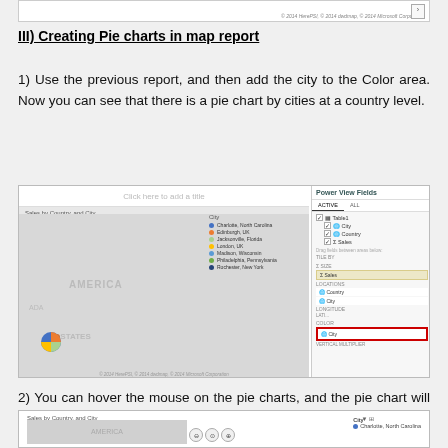[Figure (screenshot): Top partial screenshot of a Power BI map report showing copyright watermark and navigation arrow]
III) Creating Pie charts in map report
1) Use the previous report, and then add the city to the Color area. Now you can see that there is a pie chart by cities at a country level.
[Figure (screenshot): Screenshot of Power BI Power View showing a map with pie charts by city at country level, with a Power View Fields panel on the right showing City, Country, Sales fields and COLOR box highlighted in red with City field]
2) You can hover the mouse on the pie charts, and the pie chart will expand and show the tooltips as shown below
[Figure (screenshot): Partial screenshot of Power BI map showing expanded pie chart with tooltip and legend showing City with Charlotte, North Carolina entry]